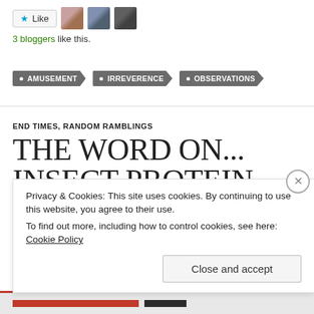[Figure (other): Like button with star icon and three blogger avatar thumbnails]
3 bloggers like this.
AMUSEMENT
IRREVERENCE
OBSERVATIONS
END TIMES, RANDOM RAMBLINGS
THE WORD ON... INSECT PROTEIN
Privacy & Cookies: This site uses cookies. By continuing to use this website, you agree to their use.
To find out more, including how to control cookies, see here: Cookie Policy
Close and accept